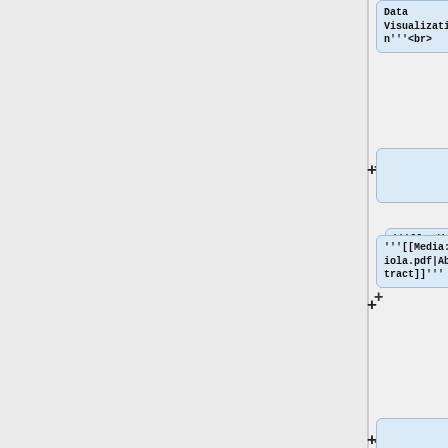Data
Visualization'''<br>
'''[[Media:Viola.pdf|Abstract]]'''
C. Vehlow
(Universität Stuttgart,
TP D.5)<br>
'''Visual Analysis of Biological Data-
Knowledge